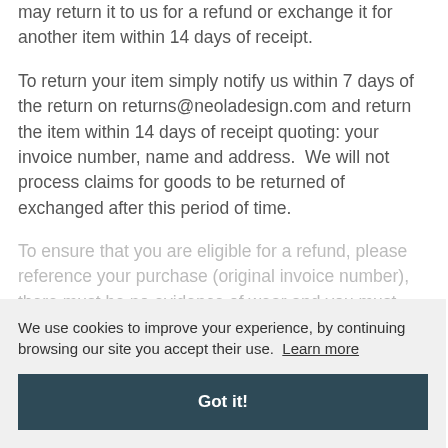may return it to us for a refund or exchange it for another item within 14 days of receipt.
To return your item simply notify us within 7 days of the return on returns@neoladesign.com and return the item within 14 days of receipt quoting: your invoice number, name and address.  We will not process claims for goods to be returned of exchanged after this period of time.
To ensure that you are eligible for a refund, please reference your purchase (original invoice number), there must be no evidence of wear and you must return the item in its original packaging. Items where there is evidence that they have been worn and items that do not
We use cookies to improve your experience, by continuing browsing our site you accept their use.  Learn more
Got it!